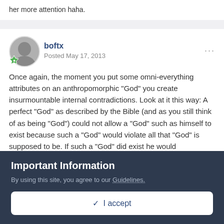her more attention haha.
boftx
Posted May 17, 2013
Once again, the moment you put some omni-everything attributes on an anthropomorphic "God" you create insurmountable internal contradictions. Look at it this way: A perfect "God" as described by the Bible (and as you still think of as being "God") could not allow a "God" such as himself to exist because such a "God" would violate all that "God" is supposed to be. If such a "God" did exist he would immediately have to commit suicide (condemn himself to hell) or else he would not have the attributes that define "God" as many people understand him.
Important Information
By using this site, you agree to our Guidelines.
✓  I accept